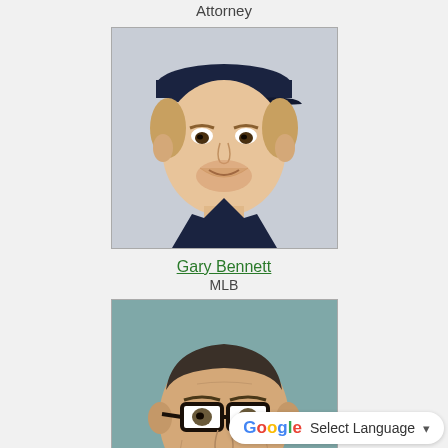Attorney
[Figure (photo): Headshot of Gary Bennett wearing a baseball cap]
Gary Bennett
MLB
[Figure (photo): Headshot of Jack Benny wearing glasses]
Jack Benny
Actor/Comedian
[Figure (photo): Partial headshot of a third person]